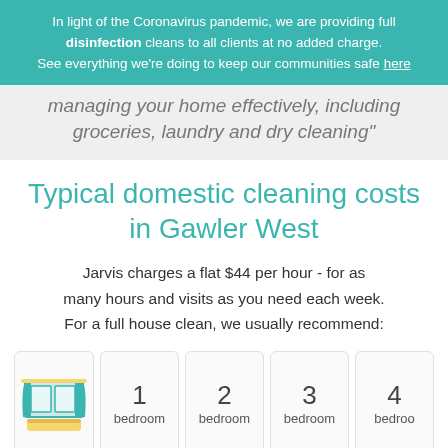In light of the Coronavirus pandemic, we are providing full disinfection cleans to all clients at no added charge. See everything we're doing to keep our communities safe here
managing your home effectively, including groceries, laundry and dry cleaning"
Typical domestic cleaning costs in Gawler West
Jarvis charges a flat $44 per hour - for as many hours and visits as you need each week. For a full house clean, we usually recommend:
[Figure (illustration): Bedroom icon with teal curtains and a bed with yellow accent]
1 bedroom
2 bedroom
3 bedroom
4 bedroom